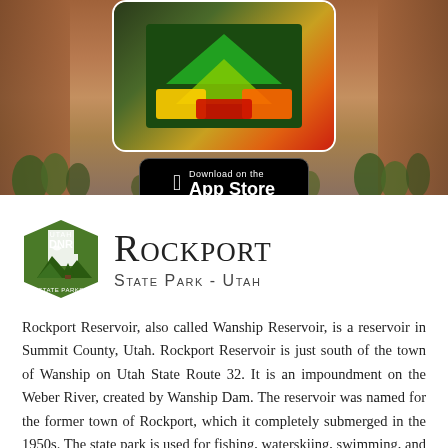[Figure (screenshot): Desert landscape background with a smartphone screen showing a colorful app interface (green, yellow, orange, red geometric shapes), and an Apple App Store download badge below the phone]
Rockport State Park - Utah
Rockport Reservoir, also called Wanship Reservoir, is a reservoir in Summit County, Utah. Rockport Reservoir is just south of the town of Wanship on Utah State Route 32. It is an impoundment on the Weber River, created by Wanship Dam. The reservoir was named for the former town of Rockport, which it completely submerged in the 1950s. The state park is used for fishing, waterskiing, swimming, and boating on Rockport Reservoir. There are eight campgrounds, featuring a total of 36 RV sites, and 86